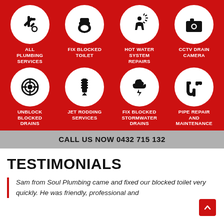[Figure (infographic): Red banner with 8 plumbing service icons in white circles arranged in a 4x2 grid, each with a label below: ALL PLUMBING SERVICES, FIX BLOCKED TOILET, HOT WATER SYSTEM REPAIRS, CCTV DRAIN CAMERA, UNBLOCK BLOCKED DRAINS, JET RODDING SERVICES, FIX BLOCKED STORMWATER DRAINS, PIPE REPAIR AND MAINTENANCE]
CALL US NOW 0432 715 132
TESTIMONIALS
Sam from Soul Plumbing came and fixed our blocked toilet very quickly. He was friendly, professional and